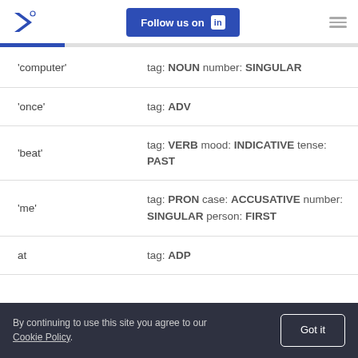Follow us on LinkedIn
| Word | Tag Info |
| --- | --- |
| 'computer' | tag: NOUN number: SINGULAR |
| 'once' | tag: ADV |
| 'beat' | tag: VERB mood: INDICATIVE tense: PAST |
| 'me' | tag: PRON case: ACCUSATIVE number: SINGULAR person: FIRST |
| at | tag: ADP |
By continuing to use this site you agree to our Cookie Policy. Got it